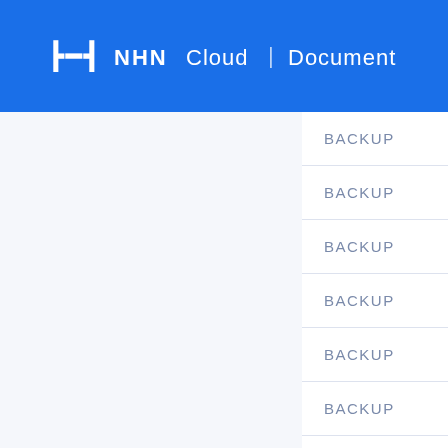NHN Cloud | Document
BACKUP
BACKUP
BACKUP
BACKUP
BACKUP
BACKUP
PARAMETER